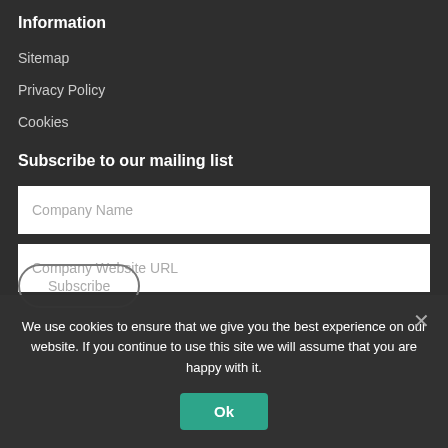Information
Sitemap
Privacy Policy
Cookies
Subscribe to our mailing list
[Figure (screenshot): Text input field with placeholder 'Company Name']
[Figure (screenshot): Text input field with placeholder 'Company Website URL']
[Figure (screenshot): Subscribe button]
We use cookies to ensure that we give you the best experience on our website. If you continue to use this site we will assume that you are happy with it.
[Figure (screenshot): Ok button for cookie consent]